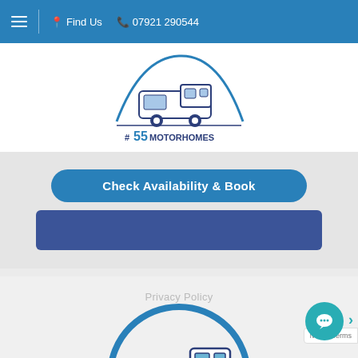≡  Find Us  07921 290544
[Figure (logo): #55 Motorhomes logo with motorhome illustration inside a circular arc, text reads '#55MOTORHOMES']
Check Availability & Book
[Figure (screenshot): Blue calendar/booking widget area (dark blue rectangle)]
Privacy Policy
[Figure (logo): 55 Motorhomes circular logo (partial, motorhome illustration inside blue circle)]
[Figure (other): Chat support button (teal circle with chat icon)]
ivacy · Terms